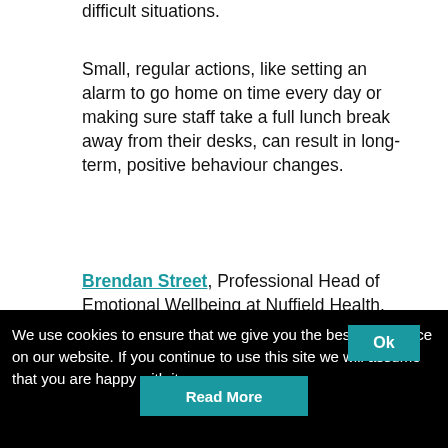difficult situations.
Small, regular actions, like setting an alarm to go home on time every day or making sure staff take a full lunch break away from their desks, can result in long-term, positive behaviour changes.
Brendan Street, Professional Head of Emotional Wellbeing at Nuffield Health.
We use cookies to ensure that we give you the best experience on our website. If you continue to use this site we will assume that you are happy with it.
Ok
Read More